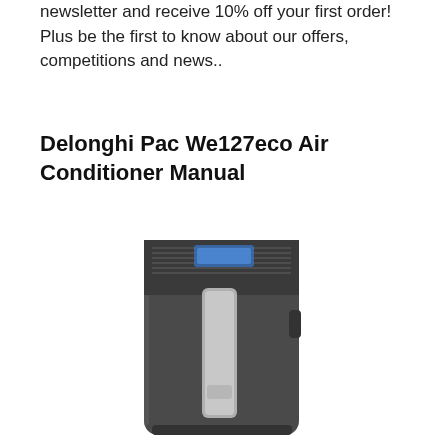newsletter and receive 10% off your first order! Plus be the first to know about our offers, competitions and news..
Delonghi Pac We127eco Air Conditioner Manual
[Figure (photo): A Delonghi Pac We127eco portable air conditioner unit — a tall, dark grey/charcoal colored portable AC with a silver vertical stripe on the front panel, ventilation grille on top, and a small blue display panel.]